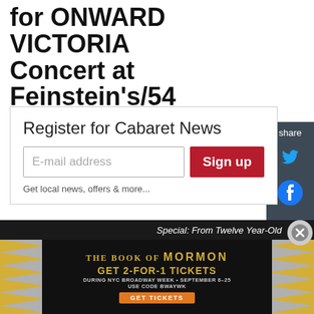for ONWARD VICTORIA Concert at Feinstein's/54 Below Released
[Figure (screenshot): Newsletter signup box with 'Register for Cabaret News' heading, email input field, and red 'Sign up' button, with share sidebar showing Twitter and Facebook icons on dark background]
by Stage Tube   Jun. 09, 2016
Special: From Twelve Year-Old
[Figure (infographic): The Book of Mormon advertisement: GET 2-FOR-1 TICKETS DURING NYC BROADWAY WEEK • SEPTEMBER 6-25 USE CODE BWAYWK GET TICKETS]